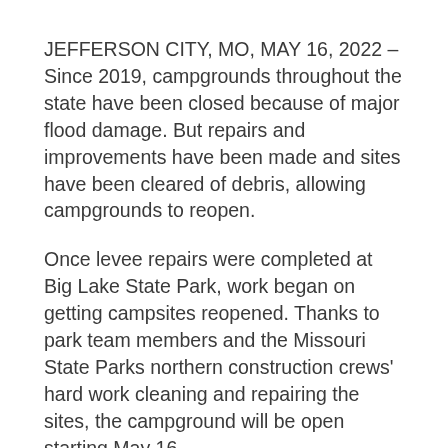JEFFERSON CITY, MO, MAY 16, 2022 – Since 2019, campgrounds throughout the state have been closed because of major flood damage. But repairs and improvements have been made and sites have been cleared of debris, allowing campgrounds to reopen.
Once levee repairs were completed at Big Lake State Park, work began on getting campsites reopened. Thanks to park team members and the Missouri State Parks northern construction crews' hard work cleaning and repairing the sites, the campground will be open starting May 16.
Two new liners have been installed at the lagoon in Big Lake State Park. The damage to the lagoon prevented any generation of wastewater at the facility, which in turn prevented any overnight camping guests. With the liners now in place, the lift stations will once again be operable, which will allow